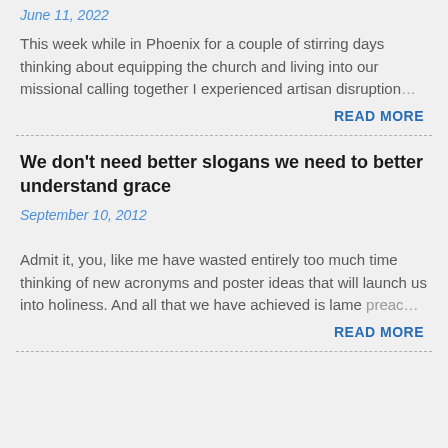June 11, 2022
This week while in Phoenix for a couple of stirring days thinking about equipping the church and living into our missional calling together I experienced artisan disruption…
READ MORE
We don't need better slogans we need to better understand grace
September 10, 2012
Admit it, you, like me have wasted entirely too much time thinking of new acronyms and poster ideas that will launch us into holiness. And all that we have achieved is lame preac…
READ MORE